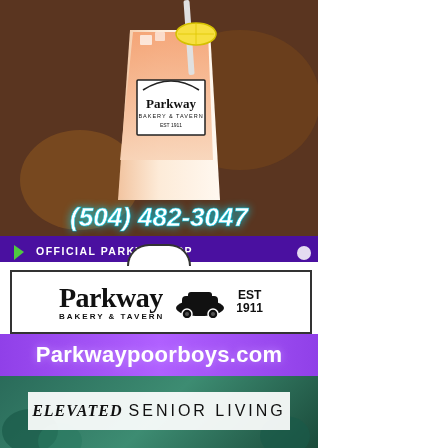[Figure (photo): Parkway Bakery & Tavern advertisement showing a pink frozen drink in a branded cup with lemon garnish and straw. Phone number (504) 482-3047 overlaid in glowing white/cyan text. Bottom bar shows 'OFFICIAL PARKWAY APP' with Google Play and Apple icons on purple background.]
[Figure (logo): Parkway Bakery & Tavern logo in a rectangular border with arch detail at top. Shows 'Parkway' in large serif font, 'BAKERY & TAVERN' below, vintage car icon, and 'EST 1911' text.]
Parkwaypoorboys.com
[Figure (photo): Partial advertisement for an 'ELEVATED SENIOR LIVING' facility with green/teal background and foliage.]